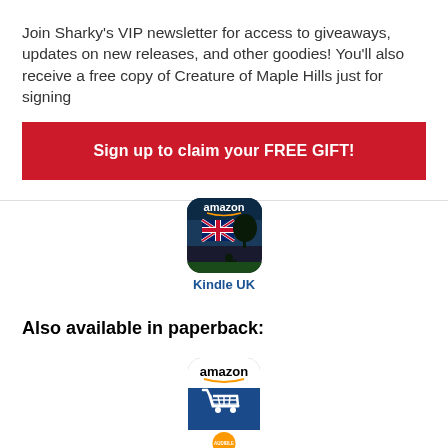Join Sharky's VIP newsletter for access to giveaways, updates on new releases, and other goodies! You'll also receive a free copy of Creature of Maple Hills just for signing
Sign up to claim your FREE GIFT!
[Figure (logo): Amazon Kindle UK app icon with UK flag and silhouette reading under a tree, labeled 'Kindle UK']
Also available in paperback:
[Figure (logo): Amazon paperback/shopping cart icon - blue and white cart on dark blue background]
[Figure (logo): Partial view of another icon at the bottom of the page]